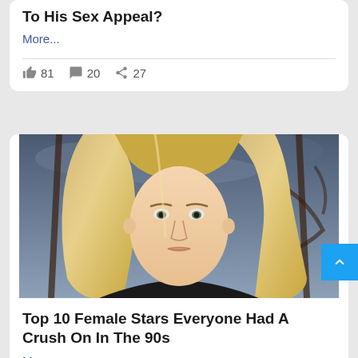To His Sex Appeal?
More...
👍 81  💬 20  ➤ 27
[Figure (photo): Portrait photo of a young blonde woman with long straight hair, looking directly at the camera, with a dark ornate metal gate and cloudy sky in the background.]
Top 10 Female Stars Everyone Had A Crush On In The 90s
More...
👍 697  💬 174  ➤ 232